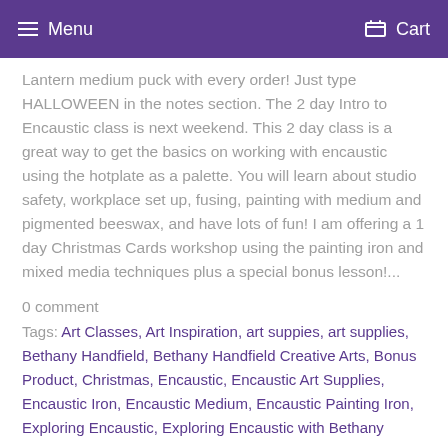Menu   Cart
Lantern medium puck with every order! Just type HALLOWEEN in the notes section. The 2 day Intro to Encaustic class is next weekend. This 2 day class is a great way to get the basics on working with encaustic using the hotplate as a palette. You will learn about studio safety, workplace set up, fusing, painting with medium and pigmented beeswax, and have lots of fun! I am offering a 1 day Christmas Cards workshop using the painting iron and mixed media techniques plus a special bonus lesson!...
0 comment
Tags: Art Classes, Art Inspiration, art suppies, art supplies, Bethany Handfield, Bethany Handfield Creative Arts, Bonus Product, Christmas, Encaustic, Encaustic Art Supplies, Encaustic Iron, Encaustic Medium, Encaustic Painting Iron, Exploring Encaustic, Exploring Encaustic with Bethany
Read more →
Exploring Encaustic: Mixed Media on Wood